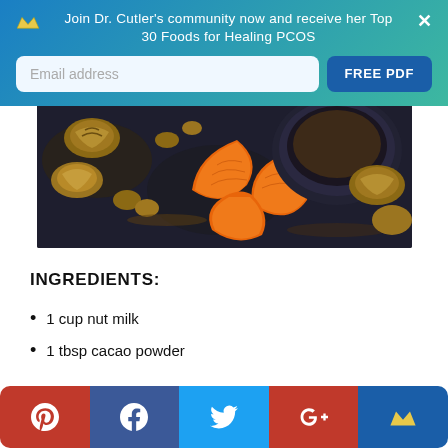Join Dr. Cutler's community now and receive her Top 30 Foods for Healing PCOS
[Figure (photo): Overhead dark surface with walnuts, mandarin orange segments, and a bowl of dark sauce or cacao powder]
INGREDIENTS:
1 cup nut milk
1 tbsp cacao powder